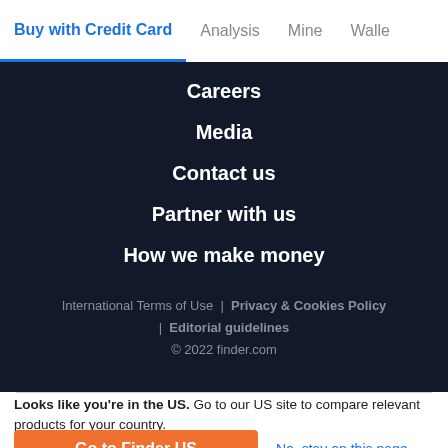Buy with Credit Card | Analysis | Mine | Walle
Careers
Media
Contact us
Partner with us
How we make money
International Terms of Use | Privacy & Cookies Policy | Editorial guidelines © 2022 finder.com
Looks like you're in the US. Go to our US site to compare relevant products for your country.
Go to Finder US
No, stay on this page